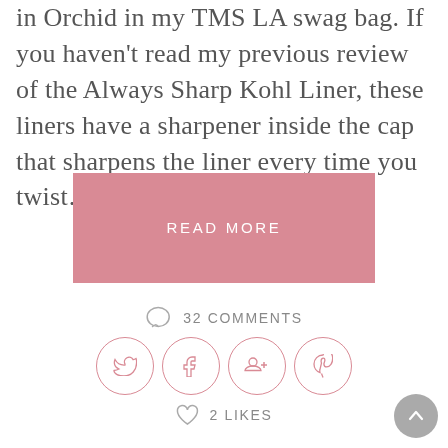in Orchid in my TMS LA swag bag. If you haven't read my previous review of the Always Sharp Kohl Liner, these liners have a sharpener inside the cap that sharpens the liner every time you twist...
READ MORE
32 COMMENTS
[Figure (infographic): Four social media icon circles: Twitter bird, Facebook f, Google+, Pinterest p]
2 LIKES
[Figure (other): Back to top arrow button circle in grey]